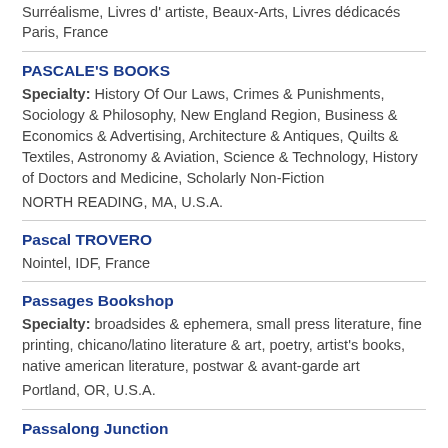Surréalisme, Livres d' artiste, Beaux-Arts, Livres dédicacés
Paris, France
PASCALE'S BOOKS
Specialty: History Of Our Laws, Crimes & Punishments, Sociology & Philosophy, New England Region, Business & Economics & Advertising, Architecture & Antiques, Quilts & Textiles, Astronomy & Aviation, Science & Technology, History of Doctors and Medicine, Scholarly Non-Fiction
NORTH READING, MA, U.S.A.
Pascal TROVERO
Nointel, IDF, France
Passages Bookshop
Specialty: broadsides & ephemera, small press literature, fine printing, chicano/latino literature & art, poetry, artist's books, native american literature, postwar & avant-garde art
Portland, OR, U.S.A.
Passalong Junction